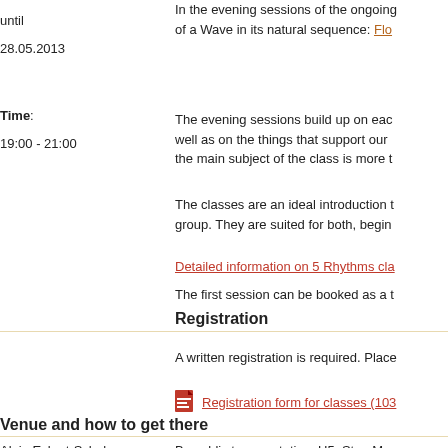until
28.05.2013
In the evening sessions of the ongoing of a Wave in its natural sequence: Flo
Time:
19:00 - 21:00
The evening sessions build up on eac well as on the things that support our the main subject of the class is more t
The classes are an ideal introduction t group. They are suited for both, begin
Detailed information on 5 Rhythms cla
The first session can be booked as a t
Registration
A written registration is required. Place
Registration form for classes (103
Venue and how to get there
Alois-Eckert-Schule,
Eschenheimer Anlage 20 A
By public transportation: U5, Stop Mus